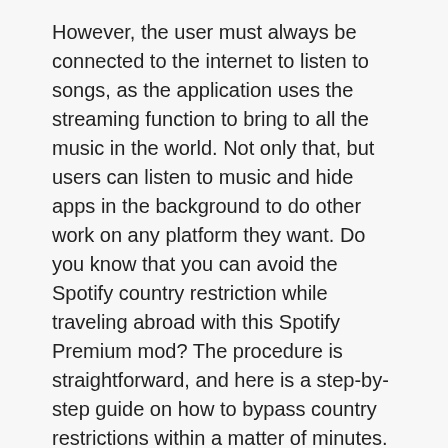However, the user must always be connected to the internet to listen to songs, as the application uses the streaming function to bring to all the music in the world. Not only that, but users can listen to music and hide apps in the background to do other work on any platform they want. Do you know that you can avoid the Spotify country restriction while traveling abroad with this Spotify Premium mod? The procedure is straightforward, and here is a step-by-step guide on how to bypass country restrictions within a matter of minutes.
Spotify For Andriod
Spotify's interface is designed to be subtle and flexible when users can minimize it to the notification bar for easy interaction while listening